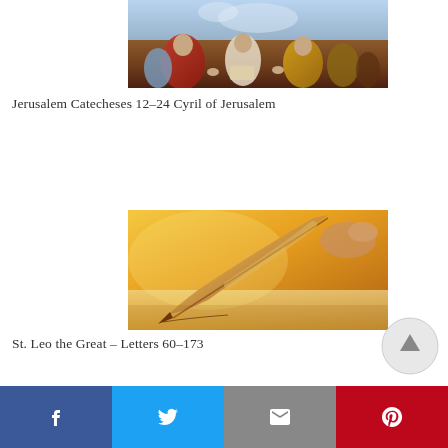[Figure (photo): A painting of biblical/religious figures gathered together, appearing to be a classical artwork with robed figures.]
Jerusalem Catecheses 12–24 Cyril of Jerusalem
[Figure (photo): A close-up photo of a quill pen writing on parchment, warm golden tones.]
St. Leo the Great – Letters 60–173